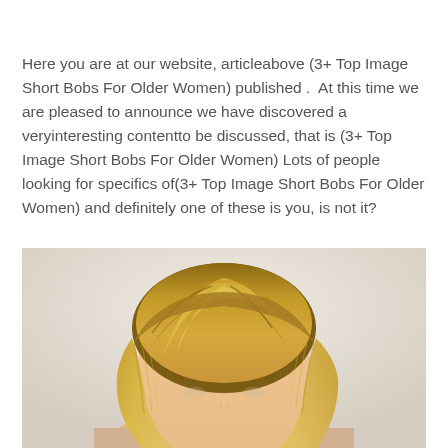Here you are at our website, articleabove (3+ Top Image Short Bobs For Older Women) published .  At this time we are pleased to announce we have discovered a veryinteresting contentto be discussed, that is (3+ Top Image Short Bobs For Older Women) Lots of people looking for specifics of(3+ Top Image Short Bobs For Older Women) and definitely one of these is you, is not it?
[Figure (photo): Close-up photo of a woman with short blonde bob hairstyle, showing the top and side of her head with highlights, against a light neutral background.]